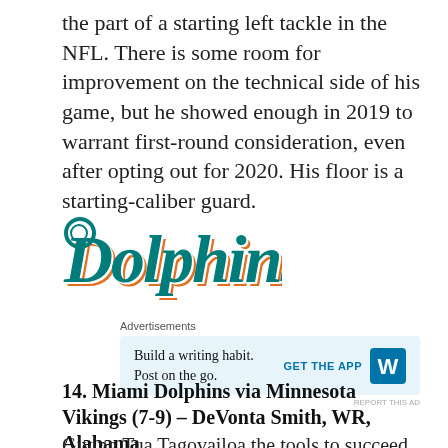the part of a starting left tackle in the NFL. There is some room for improvement on the technical side of his game, but he showed enough in 2019 to warrant first-round consideration, even after opting out for 2020. His floor is a starting-caliber guard.
[Figure (logo): Miami Dolphins script logo in teal with orange and white shadow effects]
Advertisements
Build a writing habit. Post on the go.
GET THE APP [WordPress icon]
REPORT THIS AD
14. Miami Dolphins via Minnesota Vikings (7-9) – DeVonta Smith, WR, Alabama
Giving Tua Tagovailoa the tools to succeed is